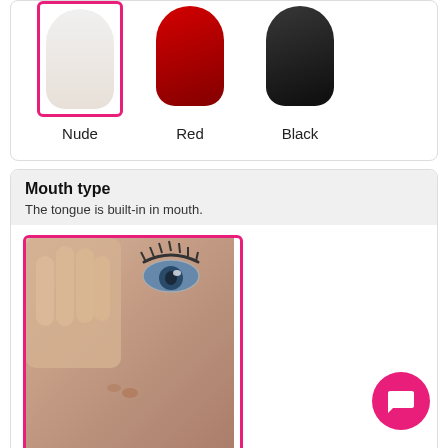[Figure (illustration): Three nail polish swatches: Nude (white, selected with pink border), Red, and Black]
Nude   Red   Black
Mouth type
The tongue is built-in in mouth.
[Figure (photo): Close-up photo of a doll face showing eye and nose area, with a black label bar reading 'Standard mouth']
[Figure (photo): Close-up photo of a doll face showing eye area, partially visible at bottom of page]